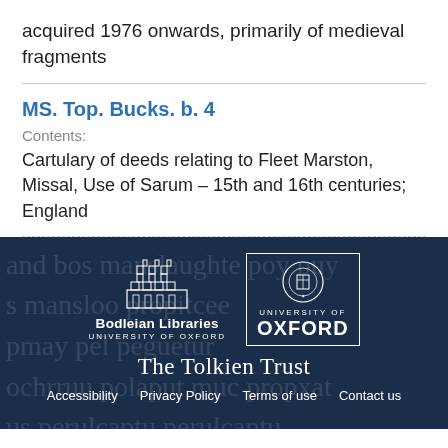acquired 1976 onwards, primarily of medieval fragments
MS. Top. Bucks. b. 4
Contents:
Cartulary of deeds relating to Fleet Marston, Missal, Use of Sarum – 15th and 16th centuries; England
[Figure (logo): Bodleian Libraries University of Oxford logo and University of Oxford logo side by side on dark navy background]
The Tolkien Trust
Accessibility   Privacy Policy   Terms of use   Contact us